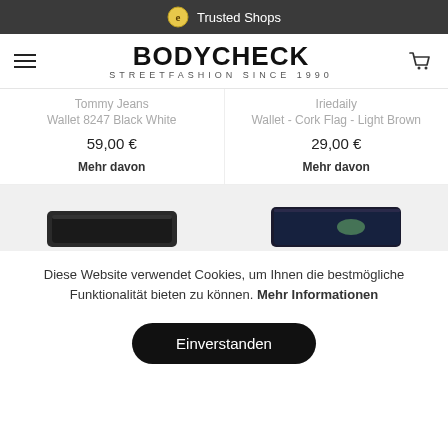Trusted Shops
BODYCHECK STREETFASHION SINCE 1990
Tommy Jeans
Wallet 8247 Black White
59,00 €
Mehr davon
Iriedaily
Wallet - Cork Flag - Light Brown
29,00 €
Mehr davon
[Figure (photo): Two wallet product images at the bottom of the product listing]
Diese Website verwendet Cookies, um Ihnen die bestmögliche Funktionalität bieten zu können. Mehr Informationen
Einverstanden